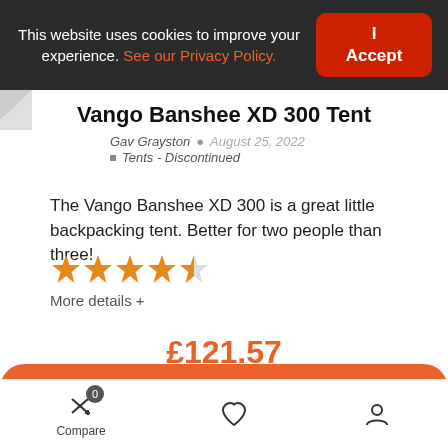This website uses cookies to improve your experience. See our Privacy Policy.
Vango Banshee XD 300 Tent
Gav Grayston • August 25, 2022 • Tents - Discontinued
The Vango Banshee XD 300 is a great little backpacking tent. Better for two people than three!
[Figure (other): 4.5 star rating shown as orange stars]
More details +
£121.57
BUY AT AMAZON UK
Compare